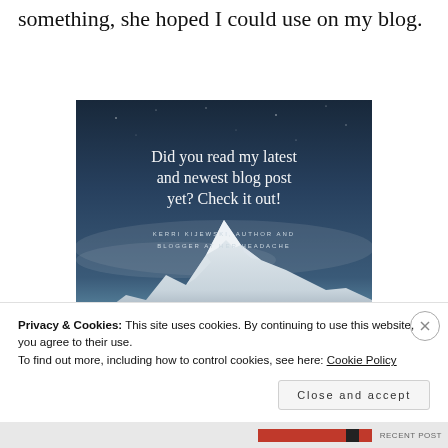something, she hoped I could use on my blog.
[Figure (photo): Promotional blog image with text 'Did you read my latest and newest blog post yet? Check it out!' over a snowy mountain background. Byline: KERRI KIJEWSKI, AUTHOR AND BLOGGER AT HER HEADACHE]
Privacy & Cookies: This site uses cookies. By continuing to use this website, you agree to their use.
To find out more, including how to control cookies, see here: Cookie Policy
Close and accept